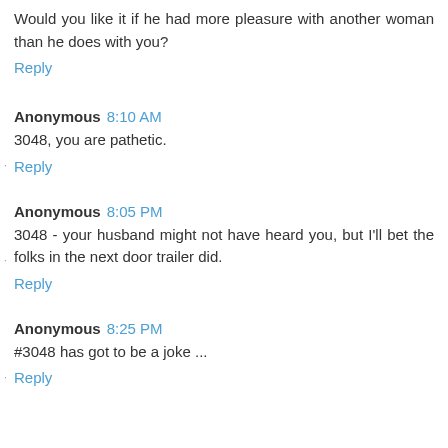Would you like it if he had more pleasure with another woman than he does with you?
Reply
Anonymous 8:10 AM
3048, you are pathetic.
Reply
Anonymous 8:05 PM
3048 - your husband might not have heard you, but I'll bet the folks in the next door trailer did.
Reply
Anonymous 8:25 PM
#3048 has got to be a joke ...
Reply